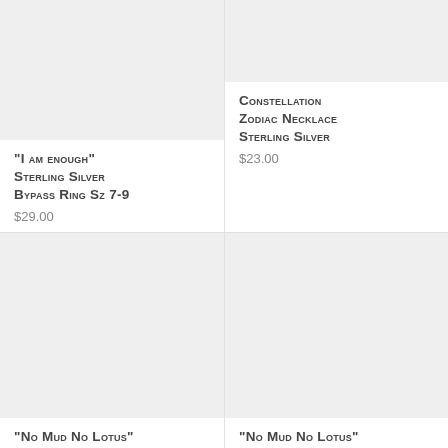[Figure (photo): Product image placeholder - light gray background for sterling silver ring]
"I am enough" Sterling Silver Bypass Ring Sz 7-9
$29.00
[Figure (photo): Product image placeholder - light gray background for constellation zodiac necklace]
Constellation Zodiac Necklace Sterling Silver
$23.00
[Figure (photo): Product image placeholder - light gray background for No Mud No Lotus item left]
"No Mud No Lotus" Handcrafted
[Figure (photo): Product image placeholder - light gray background for No Mud No Lotus item right]
"No Mud No Lotus" Handcrafted